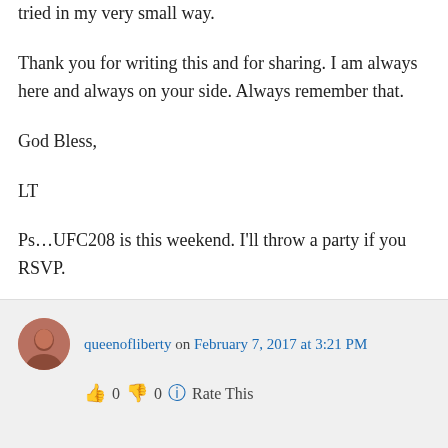tried in my very small way.
Thank you for writing this and for sharing. I am always here and always on your side. Always remember that.
God Bless,
LT
Ps…UFC208 is this weekend. I'll throw a party if you RSVP.
↪ Reply
queenofliberty on February 7, 2017 at 3:21 PM
👍 0 👎 0 ℹ Rate This